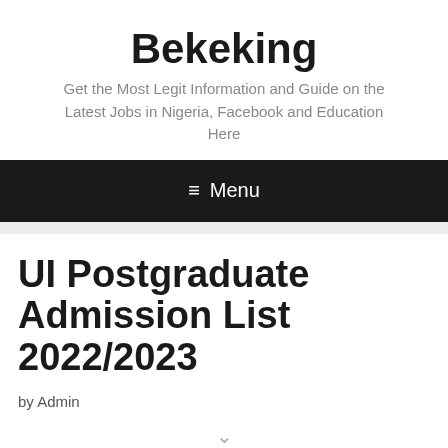Bekeking
Get the Most Legit Information and Guide on the Latest Jobs in Nigeria, Facebook and Education Here
≡ Menu
UI Postgraduate Admission List 2022/2023
by Admin